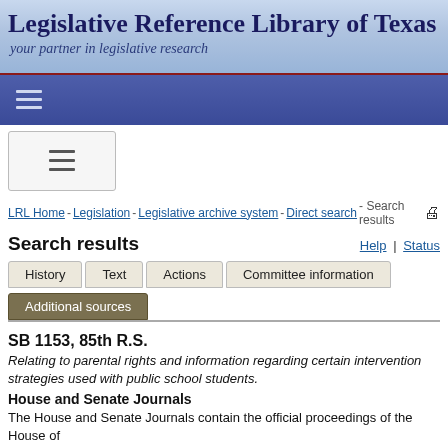Legislative Reference Library of Texas
your partner in legislative research
LRL Home - Legislation - Legislative archive system - Direct search - Search results
Search results
Help | Status
History | Text | Actions | Committee information | Additional sources
SB 1153, 85th R.S.
Relating to parental rights and information regarding certain intervention strategies used with public school students.
House and Senate Journals
The House and Senate Journals contain the official proceedings of the House of